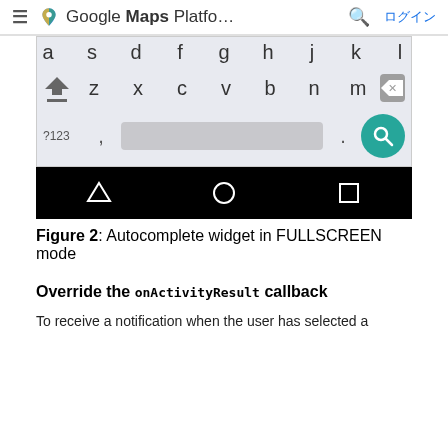≡  Google Maps Platfo…  🔍  ログイン
[Figure (screenshot): Android keyboard in FULLSCREEN mode showing letter rows a s d f g h j k l, shift key, z x c v b n m, backspace, ?123 comma space period and search button. Below keyboard is the Android navigation bar with back, home, and recents buttons on black background.]
Figure 2: Autocomplete widget in FULLSCREEN mode
Override the onActivityResult callback
To receive a notification when the user has selected a place, your activity must implement the